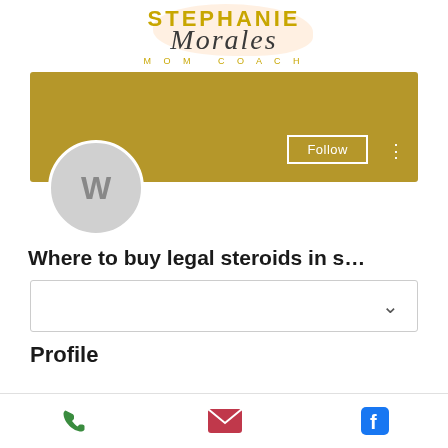[Figure (logo): Stephanie Morales Mom Coach logo with script and sans-serif fonts, gold and dark grey colors]
[Figure (screenshot): Social media profile page UI showing golden banner, avatar circle with W, Follow button, three dots menu, profile name 'Where to buy legal steroids in s...', dropdown box with chevron, and Profile heading]
[Figure (infographic): Bottom navigation bar with phone, email (envelope), and Facebook icons]